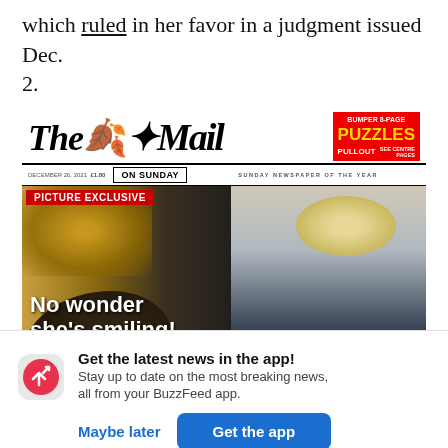which ruled in her favor in a judgment issued Dec. 2.
[Figure (photo): The Mail on Sunday newspaper front page dated December 26, 2021. Masthead reads 'The Mail on Sunday' with a red 'BUMPER 8-PAGE PUZZLES PULLOUT SEE CENTRE PAGES' box. Front page shows a 'PICTURE EXCLUSIVE' banner in red with headline 'No wonder she's smiling! Kate's panto trip with' over a photo of a blonde woman and another person.]
Get the latest news in the app!
Stay up to date on the most breaking news, all from your BuzzFeed app.
Maybe later
Get the app